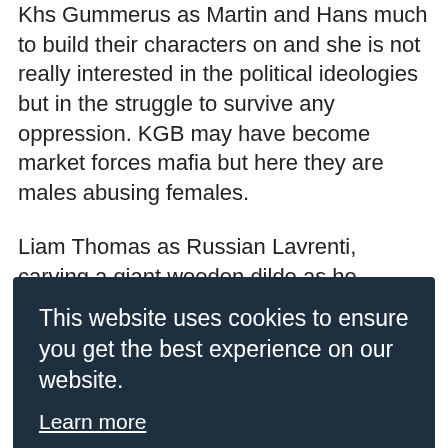Khs Gummerus as Martin and Hans much to build their characters on and she is not really interested in the political ideologies but in the struggle to survive any oppression. KGB may have become market forces mafia but here they are males abusing females.
Liam Thomas as Russian Lavrenti, carving a giant wooden dildo as he watches Zara on a monitor before her escape, is pretty frightening. He turns out to have a humane streak but Benjamin Way makes his partner
[Figure (screenshot): Cookie consent overlay with dark navy background. Text reads: 'This website uses cookies to ensure you get the best experience on our website.' with a 'Learn more' underlined link. Below is a teal 'Got it!' button.]
Aliida's house and its surrounding garden.